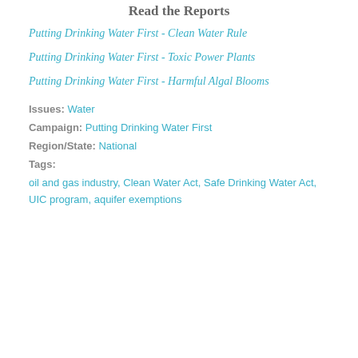Read the Reports
Putting Drinking Water First  - Clean Water Rule
Putting Drinking Water First - Toxic Power Plants
Putting Drinking Water First - Harmful Algal Blooms
Issues: Water
Campaign: Putting Drinking Water First
Region/State: National
Tags:
oil and gas industry, Clean Water Act, Safe Drinking Water Act, UIC program, aquifer exemptions